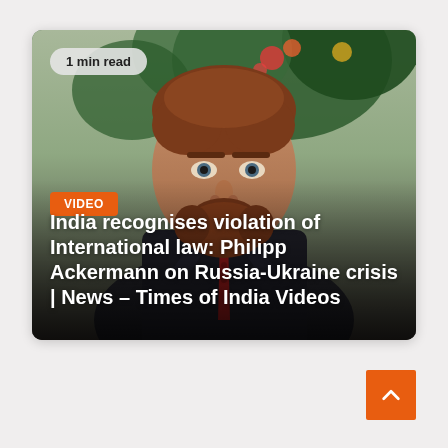[Figure (photo): Video thumbnail showing a middle-aged man with reddish-brown hair and beard wearing a dark suit and red tie, with tropical flowers and green leaves in the background. An orange VIDEO badge and white bold text title overlay the image.]
India recognises violation of International law: Philipp Ackermann on Russia-Ukraine crisis | News – Times of India Videos